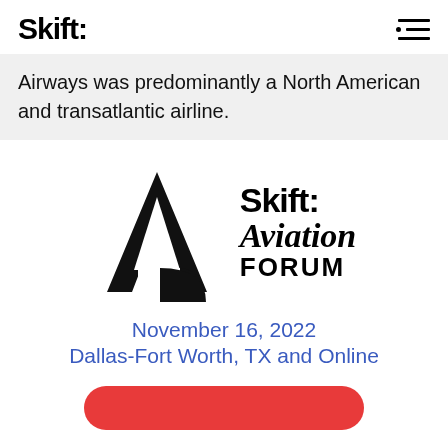Skift
Airways was predominantly a North American and transatlantic airline.
[Figure (logo): Skift Aviation Forum logo with stylized 'A' shape in black and the text 'Skift: Aviation FORUM']
November 16, 2022
Dallas-Fort Worth, TX and Online